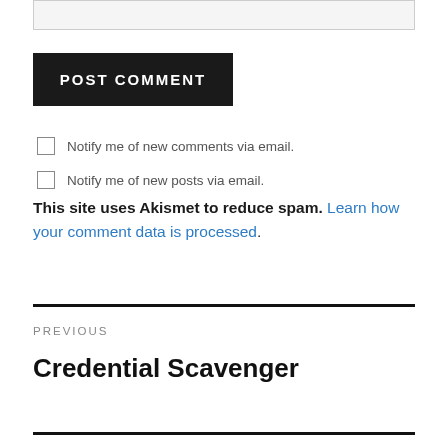[Figure (other): Top of a comment form input box (text area), partially visible]
POST COMMENT
Notify me of new comments via email.
Notify me of new posts via email.
This site uses Akismet to reduce spam. Learn how your comment data is processed.
PREVIOUS
Credential Scavenger